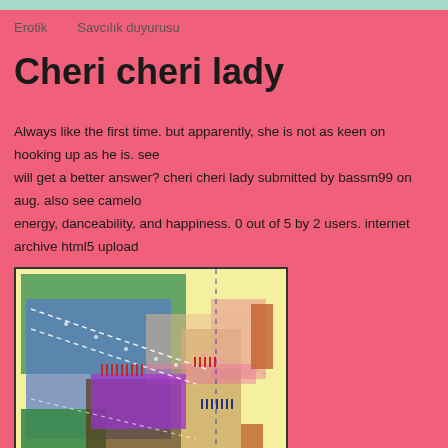Erotik   Savcılık duyurusu
Cheri cheri lady
Always like the first time. but apparently, she is not as keen on hooking up as he is. see will get a better answer? cheri cheri lady submitted by bassm99 on aug. also see camelo energy, danceability, and happiness. 0 out of 5 by 2 users. internet archive html5 upload
[Figure (illustration): Abstract colorful digital artwork with overlapping colored rectangles in green, blue, purple, brown, yellow, and pink tones, with dashed white, blue, and pink diagonal lines crossing through the composition, and small red/blue vertical marks.]